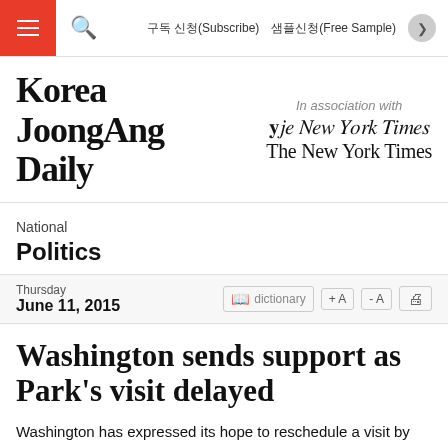구독 신청(Subscribe)   샘플신청(Free Sample)
[Figure (logo): Korea JoongAng Daily logo with 'In association with The New York Times']
National
Politics
Thursday
June 11, 2015
Washington sends support as Park's visit delayed
Washington has expressed its hope to reschedule a visit by